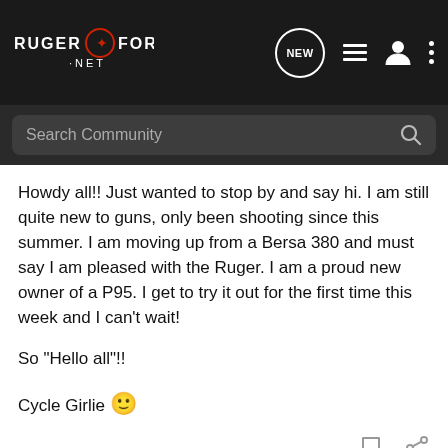Ruger Forum .net
Howdy all!! Just wanted to stop by and say hi. I am still quite new to guns, only been shooting since this summer. I am moving up from a Bersa 380 and must say I am pleased with the Ruger. I am a proud new owner of a P95. I get to try it out for the first time this week and I can't wait!

So "Hello all"!!

Cycle Girlie 🙂
RNettles · Registered
Joined Aug 20, 2006 · 5,004 Posts